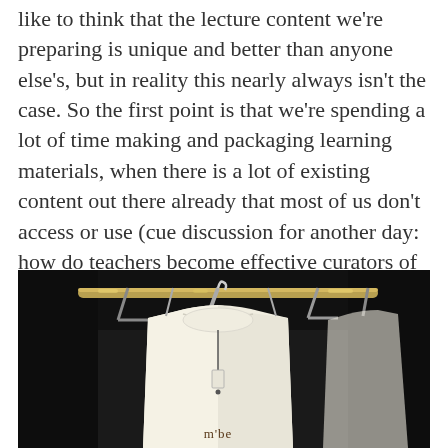like to think that the lecture content we're preparing is unique and better than anyone else's, but in reality this nearly always isn't the case. So the first point is that we're spending a lot of time making and packaging learning materials, when there is a lot of existing content out there already that most of us don't access or use (cue discussion for another day: how do teachers become effective curators of learning?)
[Figure (photo): A white long-sleeve t-shirt hanging on a metal hanger on a clothing rack, in a dark background. The shirt appears to have a small logo or text at the bottom that reads 'the'.]